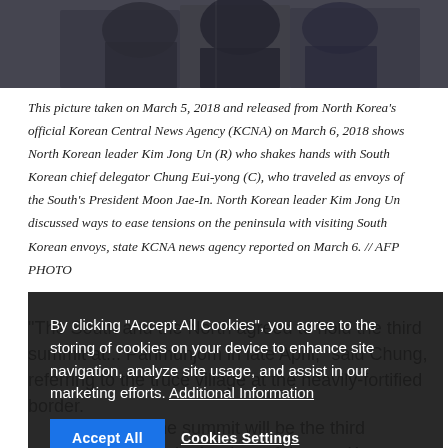[Figure (photo): Cropped photo showing people in dark clothing, partial view of individuals at top of page]
This picture taken on March 5, 2018 and released from North Korea's official Korean Central News Agency (KCNA) on March 6, 2018 shows North Korean leader Kim Jong Un (R) who shakes hands with South Korean chief delegator Chung Eui-yong (C), who traveled as envoys of the South's President Moon Jae-In. North Korean leader Kim Jong Un discussed ways to ease tensions on the peninsula with visiting South Korean envoys, state KCNA news agency reported on March 6. // AFP PHOTO
"The South and the North agreed to hold the third summit at... Panmunjom in late April," said Chung, referring to the truce village at the heavily-fortified border.
If realised, the summit will be the third meeting between the leaders of the two Koreas, which